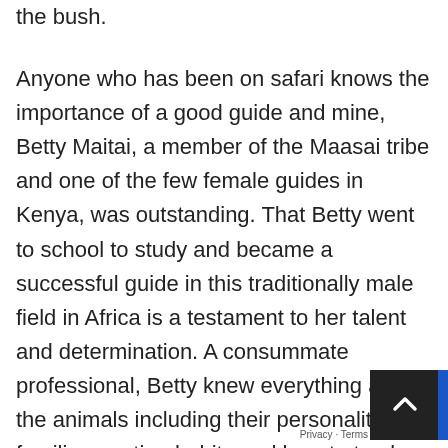the bush.
Anyone who has been on safari knows the importance of a good guide and mine, Betty Maitai, a member of the Maasai tribe and one of the few female guides in Kenya, was outstanding. That Betty went to school to study and became a successful guide in this traditionally male field in Africa is a testament to her talent and determination. A consummate professional, Betty knew everything about the animals including their personalities, families, mating habits and how to track them.